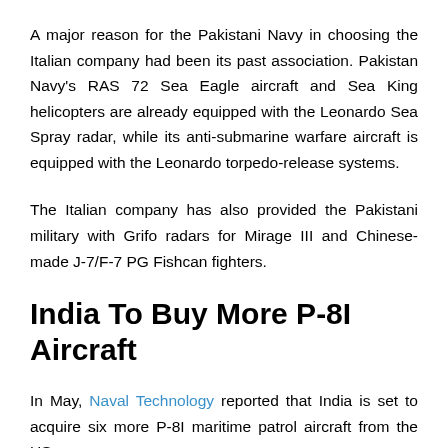A major reason for the Pakistani Navy in choosing the Italian company had been its past association. Pakistan Navy's RAS 72 Sea Eagle aircraft and Sea King helicopters are already equipped with the Leonardo Sea Spray radar, while its anti-submarine warfare aircraft is equipped with the Leonardo torpedo-release systems.
The Italian company has also provided the Pakistani military with Grifo radars for Mirage III and Chinese-made J-7/F-7 PG Fishcan fighters.
India To Buy More P-8I Aircraft
In May, Naval Technology reported that India is set to acquire six more P-8I maritime patrol aircraft from the US.
The US Defense Security Cooperation Agency (DSCA)